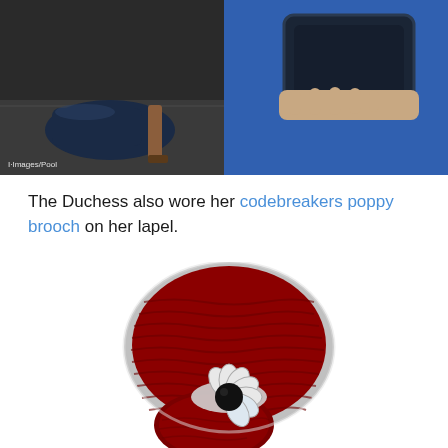[Figure (photo): Left: close-up of navy blue high-heel shoe on pavement; Right: person in royal blue outfit holding dark navy clutch bag]
Images/Pool
The Duchess also wore her codebreakers poppy brooch on her lapel.
[Figure (photo): Close-up photo of a red enamel poppy brooch with silver trim and a crystal flower center with a black stone]